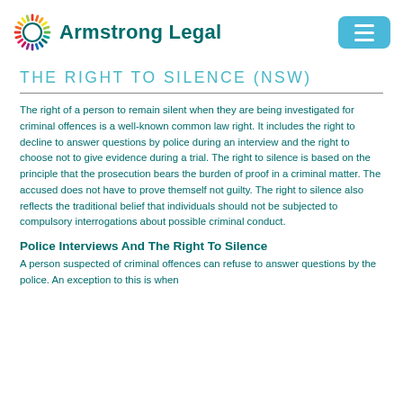Armstrong Legal
THE RIGHT TO SILENCE (NSW)
The right of a person to remain silent when they are being investigated for criminal offences is a well-known common law right. It includes the right to decline to answer questions by police during an interview and the right to choose not to give evidence during a trial. The right to silence is based on the principle that the prosecution bears the burden of proof in a criminal matter. The accused does not have to prove themself not guilty. The right to silence also reflects the traditional belief that individuals should not be subjected to compulsory interrogations about possible criminal conduct.
Police Interviews And The Right To Silence
A person suspected of criminal offences can refuse to answer questions by the police. An exception to this is when